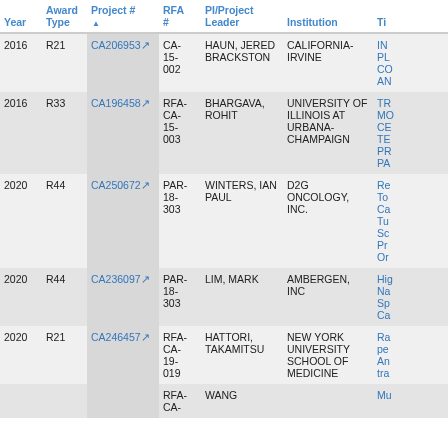| Year | Award Type | Project # | RFA # | PI/Project Leader | Institution | Ti |
| --- | --- | --- | --- | --- | --- | --- |
| 2016 | R21 | CA206953 | CA-15-002 | HAUN, JERED BRACKSTON | CALIFORNIA-IRVINE | IN PL CO AN |
| 2016 | R33 | CA196458 | RFA-CA-15-003 | BHARGAVA, ROHIT | UNIVERSITY OF ILLINOIS AT URBANA-CHAMPAIGN | TR MO CE TE PR PA |
| 2020 | R44 | CA250672 | PAR-18-303 | WINTERS, IAN PAUL | D2G ONCOLOGY, INC. | Re To Ca Tu Sc Pr Or |
| 2020 | R44 | CA236097 | PAR-18-303 | LIM, MARK | AMBERGEN, INC | Hig Na Sp Ca |
| 2020 | R21 | CA246457 | RFA-CA-19-019 | HATTORI, TAKAMITSU | NEW YORK UNIVERSITY SCHOOL OF MEDICINE | Ra pe An tra |
| 2020 |  |  | RFA-CA- | WANG |  | Mu |